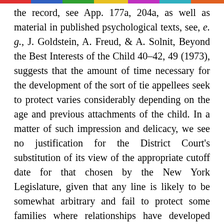the record, see App. 177a, 204a, as well as material in published psychological texts, see, e. g., J. Goldstein, A. Freud, & A. Solnit, Beyond the Best Interests of the Child 40-42, 49 (1973), suggests that the amount of time necessary for the development of the sort of tie appellees seek to protect varies considerably depending on the age and previous attachments of the child. In a matter of such impression and delicacy, we see no justification for the District Court's substitution of its view of the appropriate cutoff date for that chosen by the New York Legislature, given that any line is likely to be somewhat arbitrary and fail to protect some families where relationships have developed quickly while protecting others where no such bonds have formed. If New York sees 18 months rather than 12 as the time at which temporary foster care begins to turn into a more permanent and family-like setting requiring procedural protection and/or judicial inquiry into the propriety of continuing foster care, it would